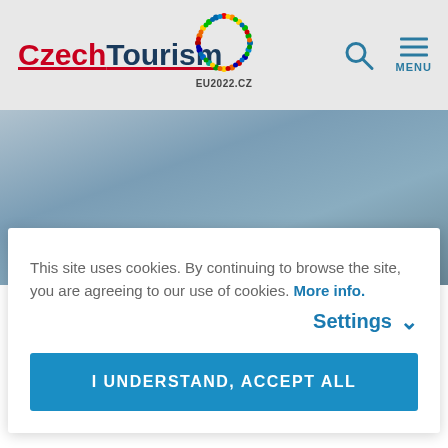[Figure (logo): CzechTourism logo with red 'Czech' and dark blue 'Tourism' text, underlined in red]
[Figure (logo): EU2022.CZ circular dotted logo with multicolor dots forming a circle, text EU2022.CZ below]
[Figure (illustration): Search icon (magnifying glass) and hamburger menu icon with MENU label, both in blue]
[Figure (photo): Hero image background, blurred landscape with blue-grey sky tones]
This site uses cookies. By continuing to browse the site, you are agreeing to our use of cookies. More info.
Settings ∨
I UNDERSTAND, ACCEPT ALL